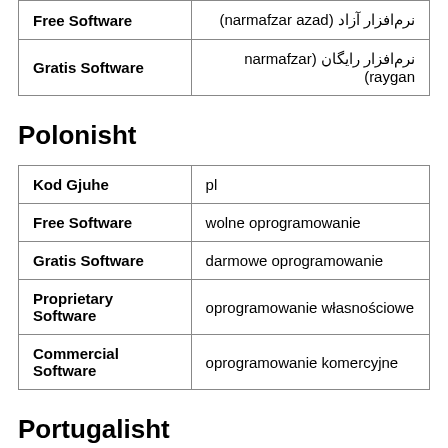| Term | Translation |
| --- | --- |
| Free Software | نرم‌افزار آزاد (narmafzar azad) |
| Gratis Software | نرم‌افزار رایگان (narmafzar raygan) |
Polonisht
| Term | Value |
| --- | --- |
| Kod Gjuhe | pl |
| Free Software | wolne oprogramowanie |
| Gratis Software | darmowe oprogramowanie |
| Proprietary Software | oprogramowanie własnościowe |
| Commercial Software | oprogramowanie komercyjne |
Portugalisht
| Term | Value |
| --- | --- |
| Kod Gjuhe | pt |